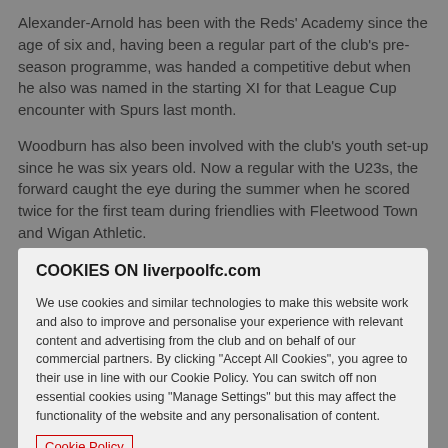Alexander-Arnold has been with the Reds' Academy since the age of six and, having been a regular part of the club's pre-season programme, was handed a competitive debut when he also was named in the starting XI for that League Cup encounter with Spurs last month.
Woodburn has also been involved with the club's youth set-up since he was six years old. Now a regular with the U23s, the forward caught the eye during the summer when he scored twice for the first team during friendlies with Fleetwood Town and Wigan Athletic.
COOKIES ON liverpoolfc.com
We use cookies and similar technologies to make this website work and also to improve and personalise your experience with relevant content and advertising from the club and on behalf of our commercial partners. By clicking "Accept All Cookies", you agree to their use in line with our Cookie Policy. You can switch off non essential cookies using "Manage Settings" but this may affect the functionality of the website and any personalisation of content.
Cookie Policy